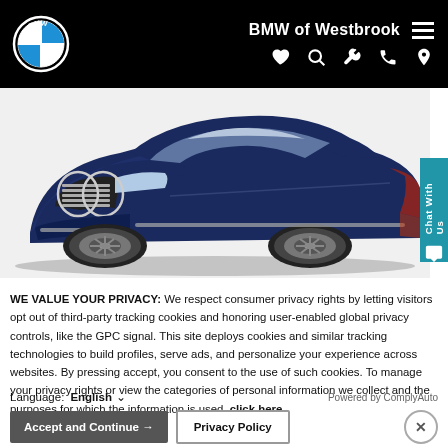BMW of Westbrook
[Figure (photo): Front three-quarter view of a dark navy blue BMW X3 SUV on a white background]
WE VALUE YOUR PRIVACY: We respect consumer privacy rights by letting visitors opt out of third-party tracking cookies and honoring user-enabled global privacy controls, like the GPC signal. This site deploys cookies and similar tracking technologies to build profiles, serve ads, and personalize your experience across websites. By pressing accept, you consent to the use of such cookies. To manage your privacy rights or view the categories of personal information we collect and the purposes for which the information is used, click here.
Language: English ∨ Powered by ComplyAuto
Accept and Continue → | Privacy Policy | ×